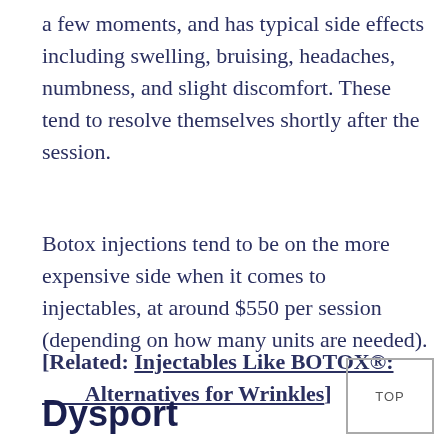a few moments, and has typical side effects including swelling, bruising, headaches, numbness, and slight discomfort. These tend to resolve themselves shortly after the session.
Botox injections tend to be on the more expensive side when it comes to injectables, at around $550 per session (depending on how many units are needed).
[Related: Injectables Like BOTOX®: Alternatives for Wrinkles]
Dysport